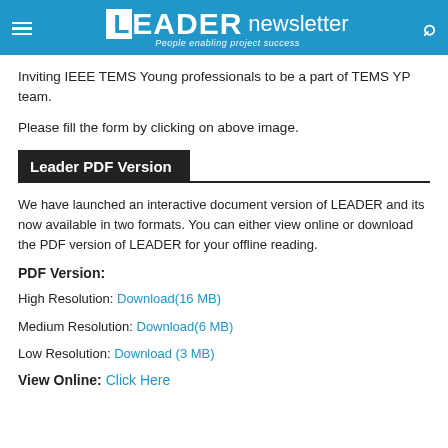LEADER newsletter — People enabling project success
Inviting IEEE TEMS Young professionals to be a part of TEMS YP team.
Please fill the form by clicking on above image.
Leader PDF Version
We have launched an interactive document version of LEADER and its now available in two formats. You can either view online or download the PDF version of LEADER for your offline reading.
PDF Version:
High Resolution: Download(16 MB)
Medium Resolution: Download(6 MB)
Low Resolution: Download (3 MB)
View Online: Click Here